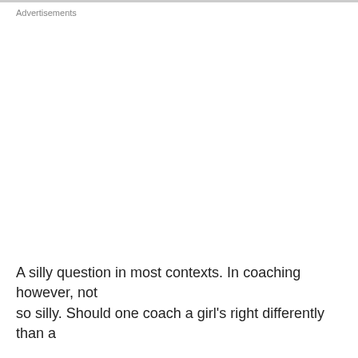Advertisements
A silly question in most contexts. In coaching however, not so silly. Should one coach a girl's right differently than a...